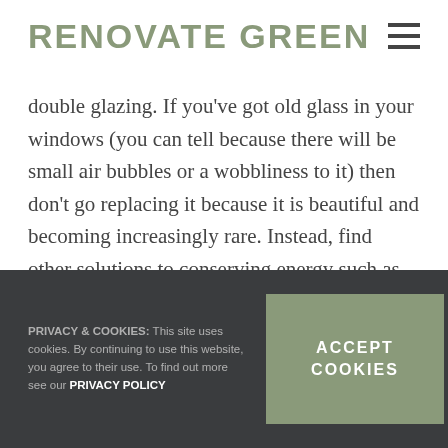RENOVATE GREEN
double glazing. If you've got old glass in your windows (you can tell because there will be small air bubbles or a wobbliness to it) then don't go replacing it because it is beautiful and becoming increasingly rare. Instead, find other solutions to conserving energy such as secondary glazing or installing shutters.
PRIVACY & COOKIES: This site uses cookies. By continuing to use this website, you agree to their use. To find out more see our PRIVACY POLICY
ACCEPT COOKIES